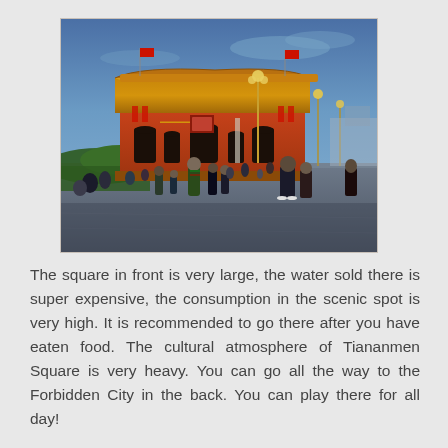[Figure (photo): A photograph of Tiananmen Square at dusk/evening. The Gate of Heavenly Peace (Tiananmen) is visible in the background with its iconic red walls and traditional Chinese roof, lit up in warm golden tones. A large crowd of tourists and visitors are scattered across the vast stone plaza. Ornate lamp posts are visible on the right. The sky is a deep blue twilight.]
The square in front is very large, the water sold there is super expensive, the consumption in the scenic spot is very high. It is recommended to go there after you have eaten food. The cultural atmosphere of Tiananmen Square is very heavy. You can go all the way to the Forbidden City in the back. You can play there for all day!